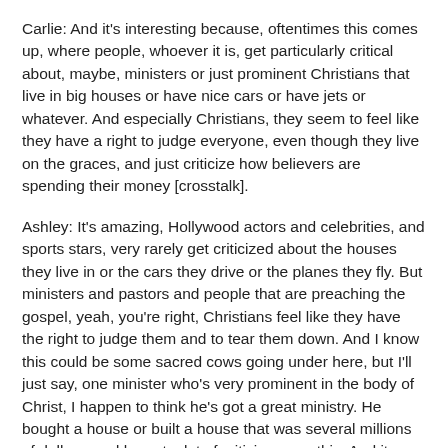Carlie: And it's interesting because, oftentimes this comes up, where people, whoever it is, get particularly critical about, maybe, ministers or just prominent Christians that live in big houses or have nice cars or have jets or whatever. And especially Christians, they seem to feel like they have a right to judge everyone, even though they live on the graces, and just criticize how believers are spending their money [crosstalk].
Ashley: It's amazing, Hollywood actors and celebrities, and sports stars, very rarely get criticized about the houses they live in or the cars they drive or the planes they fly. But ministers and pastors and people that are preaching the gospel, yeah, you're right, Christians feel like they have the right to judge them and to tear them down. And I know this could be some sacred cows going under here, but I'll just say, one minister who's very prominent in the body of Christ, I happen to think he's got a great ministry. He bought a house or built a house that was several millions of dollars, and he got a lot of criticism over this. And it was interesting, first of all, it's interesting that the church he pastors has never paid him a salary. He's [crosstalk].